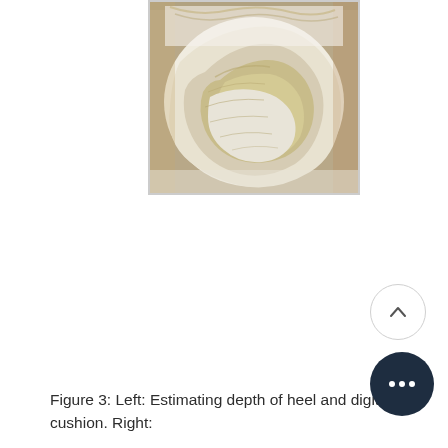[Figure (photo): Close-up photograph of bovine tissue showing depth estimation of heel and digital cushion, with layered tissue cross-section visible]
Figure 3: Left: Estimating depth of heel and digital cushion. Right: